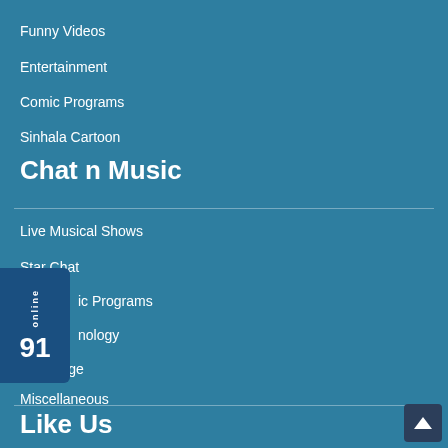Funny Videos
Entertainment
Comic Programs
Sinhala Cartoon
Chat n Music
Live Musical Shows
Star Chat
ic Programs
nology
Kids Page
Miscellaneous
Like Us
[Figure (infographic): Online badge showing '91 online' text with vertical 'online' label on left side, dark blue background]